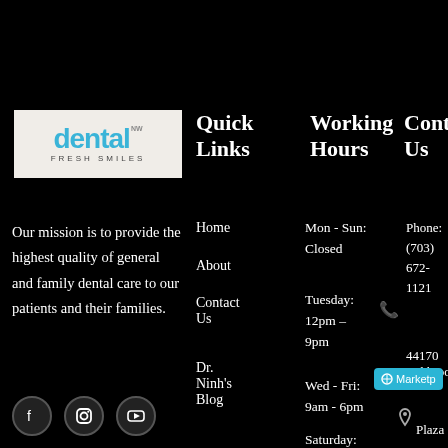[Figure (logo): Dental Fresh Smiles logo: white/beige background with 'dental' in teal and 'FRESH SMILES' in dark text below]
Quick Links
Working Hours
Contact Us
Our mission is to provide the highest quality of general and family dental care to our patients and their families.
Home
About
Contact Us
Dr. Ninh's Blog
Mon - Sun: Closed
Tuesday: 12pm – 9pm
Wed - Fri: 9am - 6pm
Saturday:
Phone: (703) 672-1121
44170 Ashbroo
Plaza S